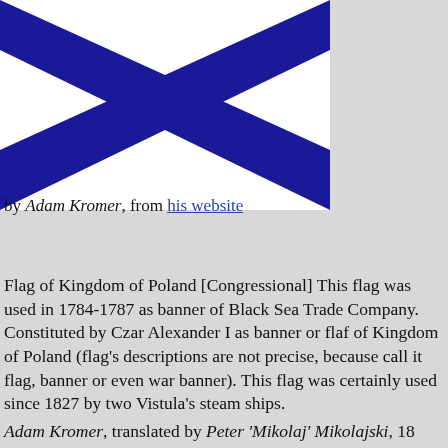[Figure (illustration): Flag of Kingdom of Poland showing a white field with a blue diagonal cross (St. Andrew's cross) pattern, depicted as two blue diagonal stripes meeting at top center forming a chevron/X shape on white background.]
by Adam Kromer, from his website
Flag of Kingdom of Poland [Congressional] This flag was used in 1784-1787 as banner of Black Sea Trade Company. Constituted by Czar Alexander I as banner or flaf of Kingdom of Poland (flag's descriptions are not precise, because call it flag, banner or even war banner). This flag was certainly used since 1827 by two Vistula's steam ships.
Adam Kromer, translated by Peter 'Mikolaj' Mikolajski, 18 Sept 2000
"The flag of the dependent Kingdom of Poland (so nominated after the Napoleonic wars) has a a white field with the blue cross of St. Andrew, which proclaims Russian suzerainty. Upon the red canton is a crowned spread eagle." This flag is based on Laurie's flagchart (1842), as depicted on p. 71 of Wilson's 'Flags at Sea', 1986. Is this eagle roughly similar to traditional Polish eagles, like the one on their flag now? Also, there's no word on official usage - I didn't think the Russians were real big on emphasizing Polish separateness. In fact, I thought even the legal existance of the